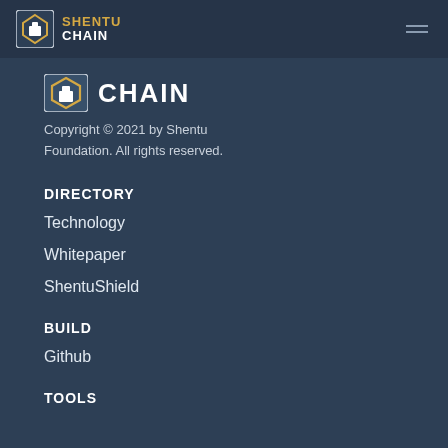SHENTU CHAIN
[Figure (logo): Shentu Chain partial logo icon with CHAIN text]
Copyright © 2021 by Shentu Foundation. All rights reserved.
DIRECTORY
Technology
Whitepaper
ShentuShield
BUILD
Github
TOOLS